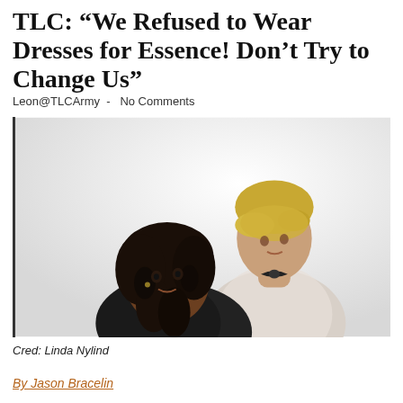TLC: “We Refused to Wear Dresses for Essence! Don’t Try to Change Us”
Leon@TLCArmy  -  No Comments
[Figure (photo): Two women posing back-to-back against a white background. One has long dark curly hair wearing a black outfit, the other has short blonde hair wearing a light lace top with a dark bow.]
Cred: Linda Nylind
By Jason Bracelin